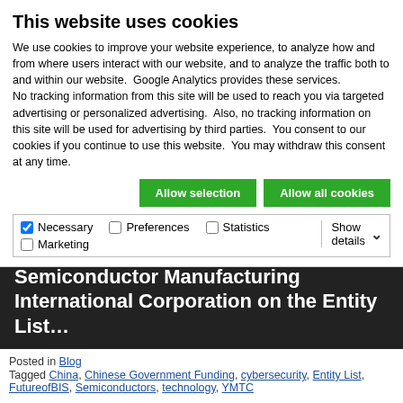This website uses cookies
We use cookies to improve your website experience, to analyze how and from where users interact with our website, and to analyze the traffic both to and within our website.  Google Analytics provides these services.
No tracking information from this site will be used to reach you via targeted advertising or personalized advertising.  Also, no tracking information on this site will be used for advertising by third parties.  You consent to our cookies if you continue to use this website.  You may withdraw this consent at any time.
Allow selection   Allow all cookies
Necessary   Preferences   Statistics   Marketing   Show details
(BIS) made in 2020 to place China’s Semiconductor Manufacturing International Corporation on the Entity List…
READ MORE
Posted in Blog
Tagged China, Chinese Government Funding, cybersecurity, Entity List, FutureofBIS, Semiconductors, technology, YMTC